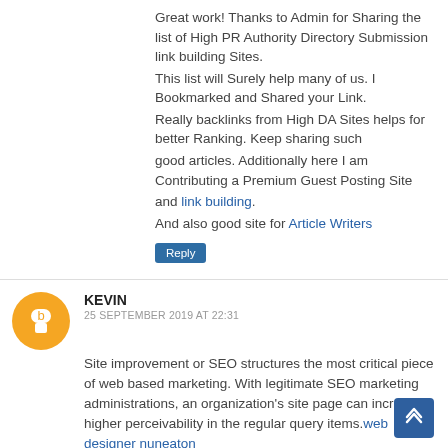Great work! Thanks to Admin for Sharing the list of High PR Authority Directory Submission link building Sites.
This list will Surely help many of us. I Bookmarked and Shared your Link.
Really backlinks from High DA Sites helps for better Ranking. Keep sharing such
good articles. Additionally here I am Contributing a Premium Guest Posting Site
and link building.
And also good site for Article Writers
Reply
KEVIN
25 SEPTEMBER 2019 AT 22:31
Site improvement or SEO structures the most critical piece of web based marketing. With legitimate SEO marketing administrations, an organization's site page can increase higher perceivability in the regular query items.web designer nuneaton
Reply
BUY GOOGLE REVIEWS
28 SEPTEMBER 2019 AT 16:10